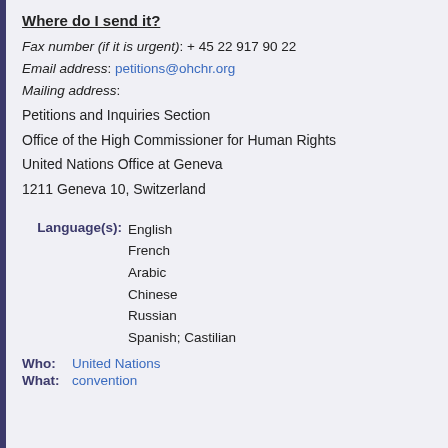Where do I send it?
Fax number (if it is urgent): + 45 22 917 90 22
Email address: petitions@ohchr.org
Mailing address:
Petitions and Inquiries Section
Office of the High Commissioner for Human Rights
United Nations Office at Geneva
1211 Geneva 10, Switzerland
Language(s): English
French
Arabic
Chinese
Russian
Spanish; Castilian
Who: United Nations
What: convention